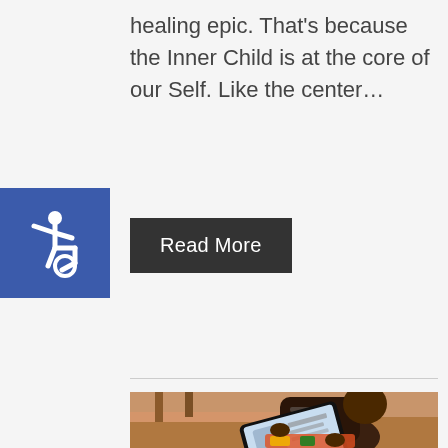healing epic. That’s because the Inner Child is at the core of our Self.  Like the center…
[Figure (other): Blue square accessibility icon with white wheelchair user symbol]
Read More
[Figure (photo): A person sitting cross-legged on the floor reading from a tablet/e-reader device, with a wooden chair visible in the background]